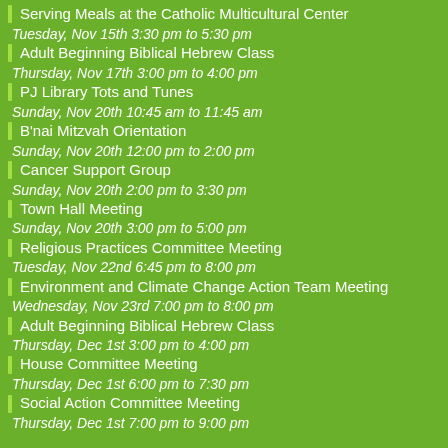Serving Meals at the Catholic Multicultural Center
Tuesday, Nov 15th 3:30 pm to 5:30 pm
Adult Beginning Biblical Hebrew Class
Thursday, Nov 17th 3:00 pm to 4:00 pm
PJ Library Tots and Tunes
Sunday, Nov 20th 10:45 am to 11:45 am
B'nai Mitzvah Orientation
Sunday, Nov 20th 12:00 pm to 2:00 pm
Cancer Support Group
Sunday, Nov 20th 2:00 pm to 3:30 pm
Town Hall Meeting
Sunday, Nov 20th 3:00 pm to 5:00 pm
Religious Practices Committee Meeting
Tuesday, Nov 22nd 6:45 pm to 8:00 pm
Environment and Climate Change Action Team Meeting
Wednesday, Nov 23rd 7:00 pm to 8:00 pm
Adult Beginning Biblical Hebrew Class
Thursday, Dec 1st 3:00 pm to 4:00 pm
House Committee Meeting
Thursday, Dec 1st 6:00 pm to 7:30 pm
Social Action Committee Meeting
Thursday, Dec 1st 7:00 pm to 9:00 pm